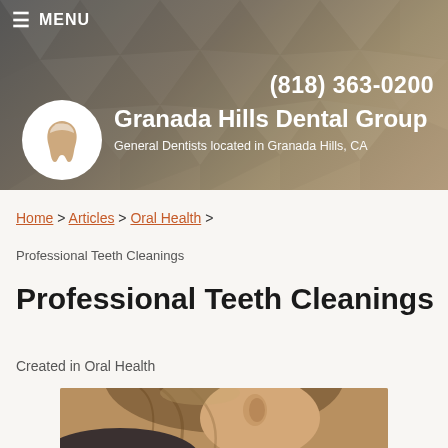≡ MENU
(818) 363-0200
Granada Hills Dental Group
General Dentists located in Granada Hills, CA
Home > Articles > Oral Health >
Professional Teeth Cleanings
Professional Teeth Cleanings
Created in Oral Health
[Figure (photo): Photo of a person shown from behind, with hair pulled up, in a dental setting]